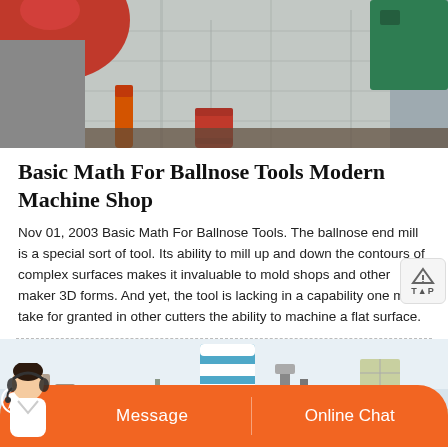[Figure (photo): Industrial machinery photo showing large red cylindrical equipment, concrete walls, orange pipe and red drum barrel]
Basic Math For Ballnose Tools Modern Machine Shop
Nov 01, 2003 Basic Math For Ballnose Tools. The ballnose end mill is a special sort of tool. Its ability to mill up and down the contours of complex surfaces makes it invaluable to mold shops and other makers of 3D forms. And yet, the tool is lacking in a capability one might take for granted in other cutters the ability to machine a flat surface.
[Figure (photo): Industrial facility photo showing blue and white cylindrical tanks/silos, machinery and equipment]
[Figure (photo): Chat bar with customer service avatar, Message button and Online Chat button on orange background]